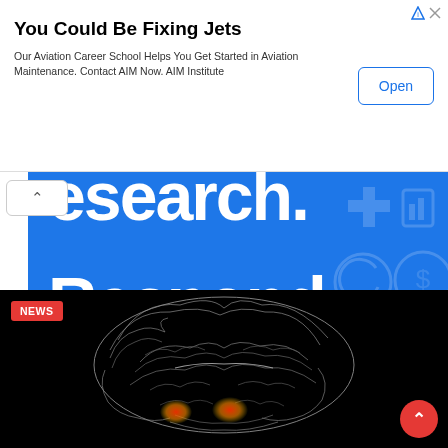[Figure (screenshot): Advertisement banner: 'You Could Be Fixing Jets' with Open button and AdChoices icons]
You Could Be Fixing Jets
Our Aviation Career School Helps You Get Started in Aviation Maintenance. Contact AIM Now. AIM Institute
[Figure (screenshot): Blue promotional banner with large text 'Research. Respond.' and a 'Learn More' button with chevron arrow, decorative icons on right, and a collapse/chevron-up button on left]
[Figure (photo): News article thumbnail showing a 3D wireframe brain model on black background with glowing red/orange spots, NEWS badge in top left, scroll-up button in bottom right]